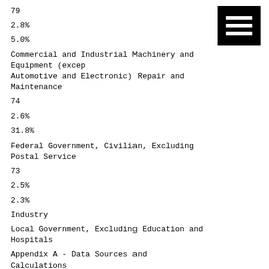79
2.8%
5.0%
Commercial and Industrial Machinery and Equipment (except Automotive and Electronic) Repair and Maintenance
74
2.6%
31.8%
Federal Government, Civilian, Excluding Postal Service
73
2.5%
2.3%
Industry
Local Government, Excluding Education and Hospitals
Appendix A - Data Sources and Calculations